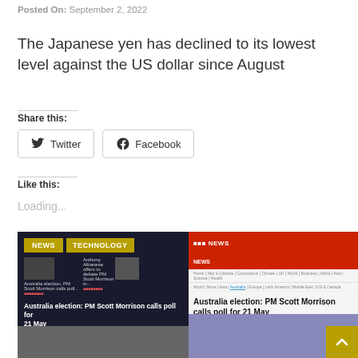Posted On: September 2, 2022
The Japanese yen has declined to its lowest level against the US dollar since August
Share this:
Like this:
Loading...
[Figure (screenshot): Two side-by-side screenshots of news websites. Left shows a dark-themed website with NEWS and TECHNOLOGY tags and article 'Australia election: PM Scott Morrison calls poll for 21 May'. Right shows a BBC News page with the same article headline.]